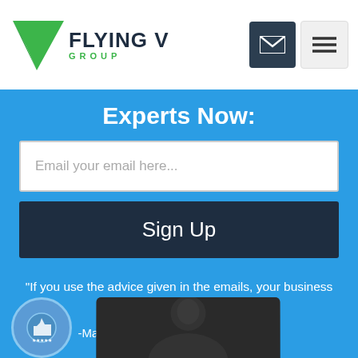[Figure (logo): Flying V Group logo with green wing/arrow icon and dark text 'FLYING V GROUP']
[Figure (other): Email/envelope icon button (dark background) and hamburger menu icon button (light background)]
Experts Now:
Email your email here...
Sign Up
"If you use the advice given in the emails, your business will grow, guaranteed."
-Mark Davidson, KeenVision Financial
[Figure (photo): Badge/award circular icon on bottom left, and a dark-toned photo of a person visible at the bottom right]